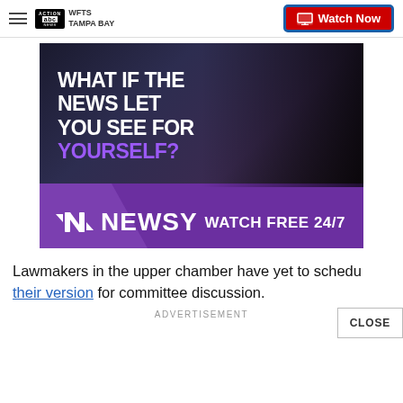WFTS TAMPA BAY | Watch Now
[Figure (photo): Newsy advertisement banner showing a person's profile silhouette with text 'WHAT IF THE NEWS LET YOU SEE FOR YOURSELF?' and 'NEWSY WATCH FREE 24/7' on a purple background.]
Lawmakers in the upper chamber have yet to schedule their version for committee discussion.
ADVERTISEMENT